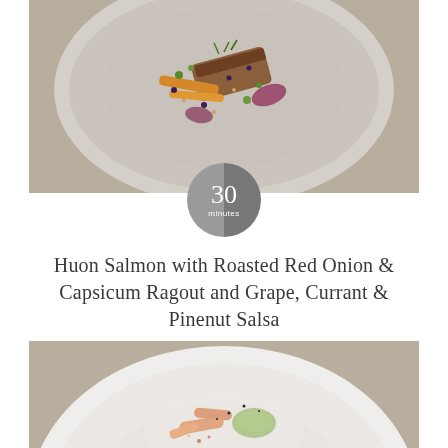[Figure (photo): Top-down view of a plated Huon Salmon dish with roasted red onion, capsicum ragout, and grape, currant & pinenut salsa on a grey ceramic plate, set on a linen tablecloth.]
Huon Salmon with Roasted Red Onion & Capsicum Ragout and Grape, Currant & Pinenut Salsa
[Figure (photo): Partial view of a white ceramic plate with a garnished dish featuring carrots, green herb puree, and seasoned elements on a linen tablecloth.]